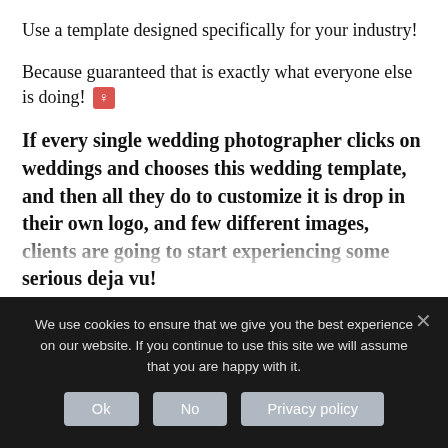Use a template designed specifically for your industry!
Because guaranteed that is exactly what everyone else is doing! ♀
If every single wedding photographer clicks on weddings and chooses this wedding template, and then all they do to customize it is drop in their own logo, and few different images, clients are going to start experiencing some serious deja vu!
It's going to be pretty hard to stand out as a wedding photographer in a sea of superrr similar
We use cookies to ensure that we give you the best experience on our website. If you continue to use this site we will assume that you are happy with it.